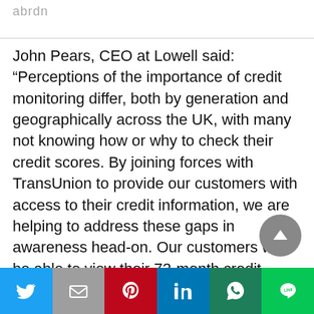abrdn
John Pears, CEO at Lowell said: “Perceptions of the importance of credit monitoring differ, both by generation and geographically across the UK, with many not knowing how or why to check their credit scores. By joining forces with TransUnion to provide our customers with access to their credit information, we are helping to address these gaps in awareness head-on. Our customers will be able to view their 72-month credit score history for free, as well as the aspects that impact their scores – both positively and negatively – in turn empowering them to make better financial
[Figure (other): Social sharing bar with Twitter, Mail, Pinterest, LinkedIn, WhatsApp, and LINE buttons]